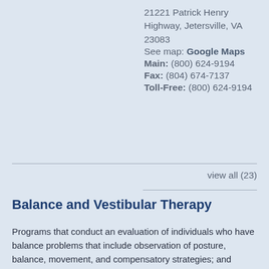21221 Patrick Henry Highway, Jetersville, VA 23083
See map: Google Maps
Main: (800) 624-9194
Fax: (804) 674-7137
Toll-Free: (800) 624-9194
view all (23)
Balance and Vestibular Therapy
Programs that conduct an evaluation of individuals who have balance problems that include observation of posture, balance, movement, and compensatory strategies; and develop an individualized treatment plan that includes specific head, body, and eye exercise. Treatments also include balance retraining activities and